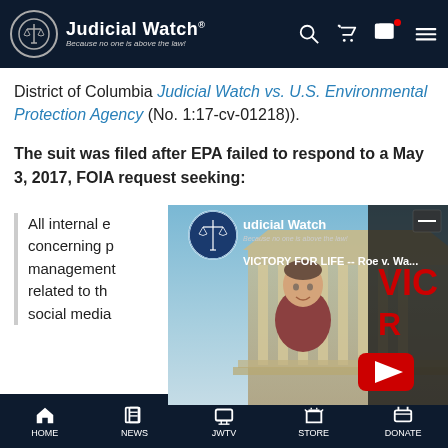Judicial Watch — Because no one is above the law!
District of Columbia (Judicial Watch vs. U.S. Environmental Protection Agency (No. 1:17-cv-01218)).
The suit was filed after EPA failed to respond to a May 3, 2017, FOIA request seeking:
[Figure (screenshot): Judicial Watch video thumbnail showing a man in front of the Supreme Court with text VICTORY FOR LIFE -- Roe v. Wa... and a YouTube play button overlay]
All internal e... concerning p... management... related to th... social media...